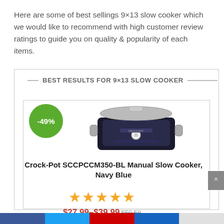Here are some of best sellings 9×13 slow cooker which we would like to recommend with high customer review ratings to guide you on quality & popularity of each items.
BEST RESULTS FOR 9×13 SLOW COOKER
[Figure (photo): Crock-Pot SCCPCCM350-BL Manual Slow Cooker in Navy Blue, rectangular shape with glass lid and side handles. A green circular badge shows -49% discount.]
Crock-Pot SCCPCCM350-BL Manual Slow Cooker, Navy Blue
★★★★★
$27.99–$39.99 $59.59